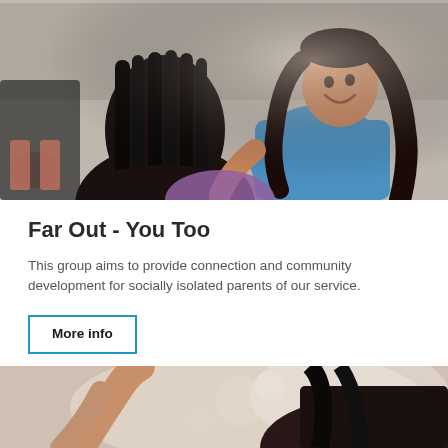[Figure (photo): Group of people sitting in a circle in a community/support group setting. A woman in a blue top is smiling and talking, seen from the back of another woman with long dark hair in the foreground.]
Far Out - You Too
This group aims to provide connection and community development for socially isolated parents of our service.
More info
[Figure (photo): Partial photo showing a person with raised arm and another person with dark hair, suggesting an active group setting.]